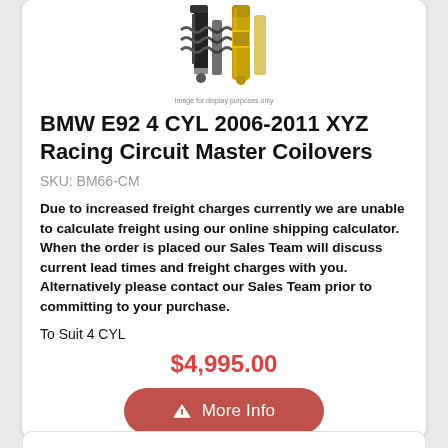[Figure (photo): Product photo of XYZ Racing Circuit Master Coilovers — suspension coilover assembly with gold/black components visible from above]
Image for display purposes only
BMW E92 4 CYL 2006-2011 XYZ Racing Circuit Master Coilovers
SKU: BM66-CM
Due to increased freight charges currently we are unable to calculate freight using our online shipping calculator. When the order is placed our Sales Team will discuss current lead times and freight charges with you. Alternatively please contact our Sales Team prior to committing to your purchase.
To Suit 4 CYL
$4,995.00
More Info